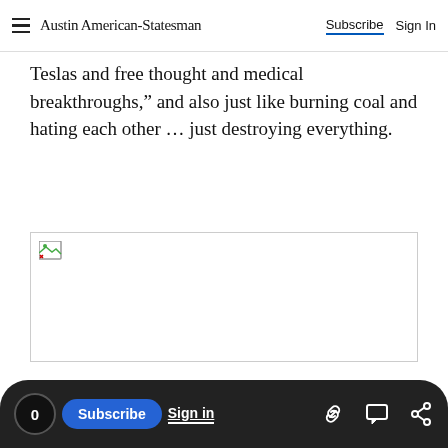Austin American-Statesman  Subscribe  Sign In
Teslas and free thought and medical breakthroughs,” and also just like burning coal and hating each other … just destroying everything.
[Figure (photo): Broken/missing image placeholder with a small broken image icon in the top-left corner]
0  Subscribe  Sign in